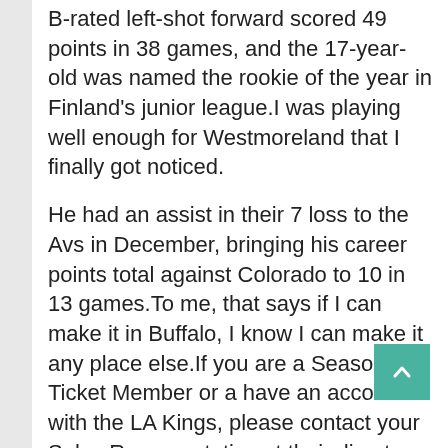B-rated left-shot forward scored 49 points in 38 games, and the 17-year-old was named the rookie of the year in Finland's junior league.I was playing well enough for Westmoreland that I finally got noticed.
He had an assist in their 7 loss to the Avs in December, bringing his career points total against Colorado to 10 in 13 games.To me, that says if I can make it in Buffalo, I know I can make it any place else.If you are a Season Ticket Member or a have an account with the LA Kings, please contact your Sales Representative at their direct number or by calling .They met each other while attending Glasgow University and got married in 2017.The Penguins have earned points in nine of their last 11 games .
Metal, plastic or heavy materials will not be considered.We may use the information